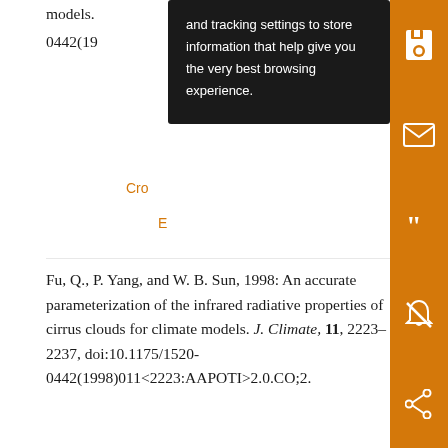models. …1520-0442(19…
and tracking settings to store information that help give you the very best browsing experience.
Fu, Q., P. Yang, and W. B. Sun, 1998: An accurate parameterization of the infrared radiative properties of cirrus clouds for climate models. J. Climate, 11, 2223–2237, doi:10.1175/1520-0442(1998)011<2223:AAPOTI>2.0.CO;2.
Crossref | Search Google Scholar
Export Citation
Geleyn, J., J. J. Mašek, R. Brožková, P. Kuma, D. Degrauwe, G. Hello, and N. Pristov, 2017: Single interval longwave radiation scheme based on the net